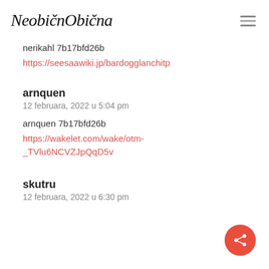NeobičnObična
nerikahl 7b17bfd26b
https://seesaawiki.jp/bardogglanchitp
arnquen
12 februara, 2022 u 5:04 pm
arnquen 7b17bfd26b
https://wakelet.com/wake/otm-_TVlu6NCVZJpQqD5v
skutru
12 februara, 2022 u 6:30 pm